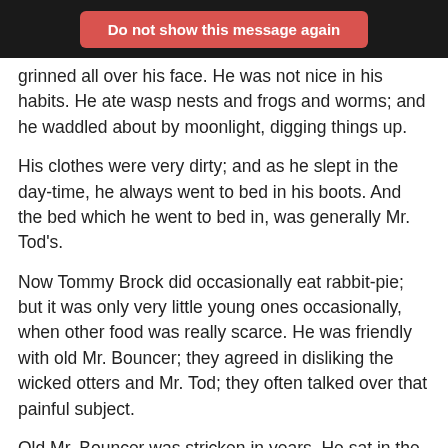Do not show this message again
grinned all over his face. He was not nice in his habits. He ate wasp nests and frogs and worms; and he waddled about by moonlight, digging things up.
His clothes were very dirty; and as he slept in the day-time, he always went to bed in his boots. And the bed which he went to bed in, was generally Mr. Tod's.
Now Tommy Brock did occasionally eat rabbit-pie; but it was only very little young ones occasionally, when other food was really scarce. He was friendly with old Mr. Bouncer; they agreed in disliking the wicked otters and Mr. Tod; they often talked over that painful subject.
Old Mr. Bouncer was stricken in years. He sat in the spring sunshine outside the burrow, in a muffler; smoking a pipe of rabbit tobacco.
He lived with his son Benjamin Bunny and his daughter-in-law Flopsy, who had a young family. Old Mr. Bouncer was in charge of the family that afternoon, because Benjamin and Flopsy had gone out.
The little rabbits being asleep in bed, and to save their jobs...